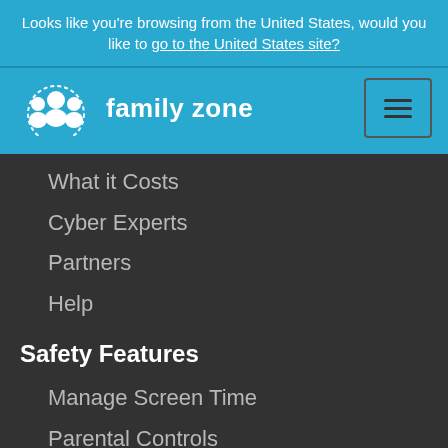Looks like you're browsing from the United States, would you like to go to the United States site?
[Figure (logo): Family Zone logo with icon of three people figures and text 'family zone']
What it Costs
Cyber Experts
Partners
Help
Safety Features
Manage Screen Time
Parental Controls
Restrict Social Media
Block Porn
Internet Filter
Block Apps
Limit Gaming
Cyberbullying